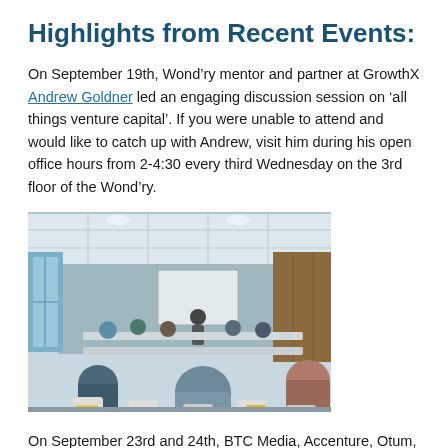Highlights from Recent Events:
On September 19th, Wond’ry mentor and partner at GrowthX Andrew Goldner led an engaging discussion session on ‘all things venture capital’. If you were unable to attend and would like to catch up with Andrew, visit him during his open office hours from 2-4:30 every third Wednesday on the 3rd floor of the Wond’ry.
[Figure (photo): Photo of a discussion session in a modern room with people seated at tables facing a presenter at the front, taken from the back of the room.]
On September 23rd and 24th, BTC Media, Accenture, Otum, the Wond’ry, and Better Doctor sponsored a